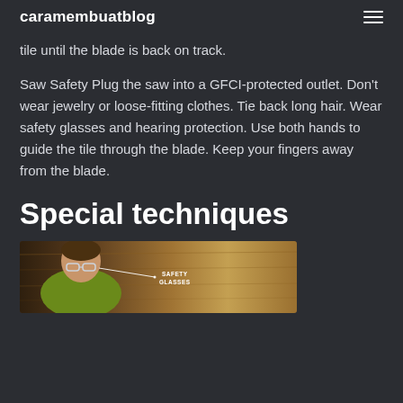caramembuatblog
tile until the blade is back on track.
Saw Safety Plug the saw into a GFCI-protected outlet. Don’t wear jewelry or loose-fitting clothes. Tie back long hair. Wear safety glasses and hearing protection. Use both hands to guide the tile through the blade. Keep your fingers away from the blade.
Special techniques
[Figure (photo): A man wearing safety glasses and a green shirt, looking closely at wood material. An arrow points to the safety glasses with a label reading SAFETY GLASSES.]